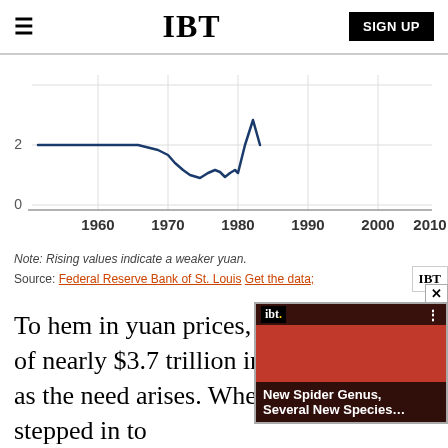IBT  SIGN UP
[Figure (line-chart): Line chart showing yuan exchange rate from 1960 to 2010. The line starts near 2, stays flat through 1970, drops sharply to about 1.5 around 1975-1980, then spikes back up above 2 around 1983-1984, then falls off the chart.]
Note: Rising values indicate a weaker yuan.
Source: Federal Reserve Bank of St. Louis  Get the data;
To hem in yuan prices, the ... of nearly $3.7 trillion in glo... as the need arises. When the bank stepped in to prop up the yuan Wednesday, for instance, it did so